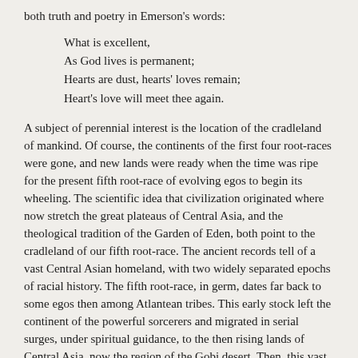both truth and poetry in Emerson's words:
What is excellent,
As God lives is permanent;
Hearts are dust, hearts' loves remain;
Heart's love will meet thee again.
A subject of perennial interest is the location of the cradleland of mankind. Of course, the continents of the first four root-races were gone, and new lands were ready when the time was ripe for the present fifth root-race of evolving egos to begin its wheeling. The scientific idea that civilization originated where now stretch the great plateaus of Central Asia, and the theological tradition of the Garden of Eden, both point to the cradleland of our fifth root-race. The ancient records tell of a vast Central Asian homeland, with two widely separated epochs of racial history. The fifth root-race, in germ, dates far back to some egos then among Atlantean tribes. This early stock left the continent of the powerful sorcerers and migrated in serial surges, under spiritual guidance, to the then rising lands of Central Asia, now the region of the Gobi desert. Then, this vast continental tract was an aggregate of beautiful, fertile lands, with a mild and equable climate, and with outlying islands and countries in the surrounding seas. HPB speaks of an inland sea, consecrated and called "the Abyss of Learning" (The Secret Doctrine 2:502). The sacred records tell of the wonderful